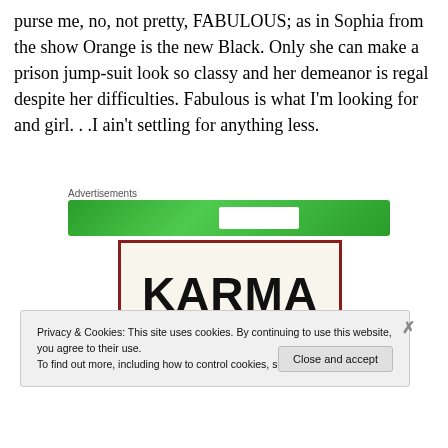purse me, no, not pretty, FABULOUS; as in Sophia from the show Orange is the new Black. Only she can make a prison jump-suit look so classy and her demeanor is regal despite her difficulties. Fabulous is what I'm looking for and girl. . .I ain't settling for anything less.
[Figure (screenshot): Advertisement banner with green background]
[Figure (screenshot): KARMA text in large bold black letters on cream background with dark red border]
Privacy & Cookies: This site uses cookies. By continuing to use this website, you agree to their use.
To find out more, including how to control cookies, see here: Cookie Policy